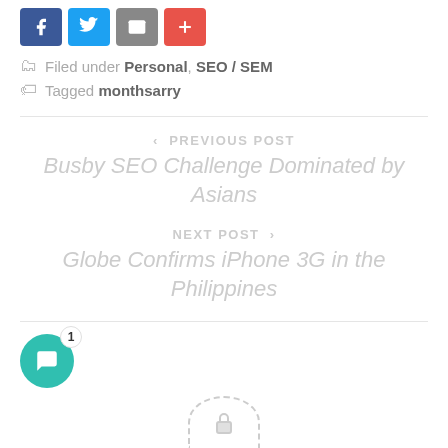[Figure (other): Social share buttons: Facebook (blue), Twitter (light blue), Email (gray), Plus/share (red-orange)]
Filed under Personal, SEO / SEM
Tagged monthsarry
< PREVIOUS POST
Busby SEO Challenge Dominated by Asians
NEXT POST >
Globe Confirms iPhone 3G in the Philippines
[Figure (other): Teal chat bubble icon with badge showing '1']
[Figure (other): Partially visible dashed circle with lock icon at bottom of page]